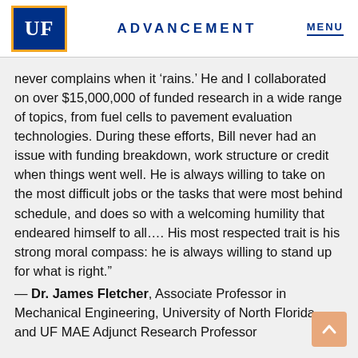[Figure (logo): University of Florida UF logo — blue square with gold border, white 'UF' text]
ADVANCEMENT
never complains when it ‘rains.’ He and I collaborated on over $15,000,000 of funded research in a wide range of topics, from fuel cells to pavement evaluation technologies. During these efforts, Bill never had an issue with funding breakdown, work structure or credit when things went well. He is always willing to take on the most difficult jobs or the tasks that were most behind schedule, and does so with a welcoming humility that endeared himself to all.... His most respected trait is his strong moral compass: he is always willing to stand up for what is right.”
— Dr. James Fletcher, Associate Professor in Mechanical Engineering, University of North Florida, and UF MAE Adjunct Research Professor